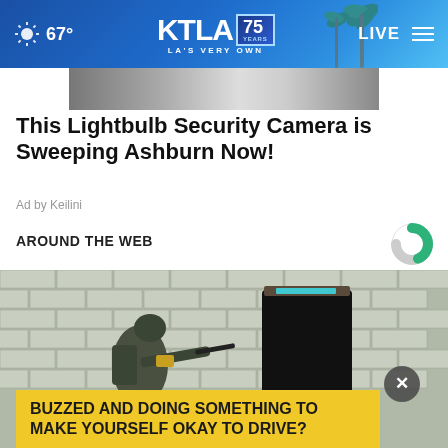67° KTLA 75 YEARS LA'S VERY OWN LIVE
[Figure (photo): Partial view of a person's face/head from an ad for a lightbulb security camera]
This Lightbulb Security Camera is Sweeping Ashburn Now!
Ad by Keilini
AROUND THE WEB
[Figure (logo): Outbrain logo - circular icon with green and grey segments]
[Figure (photo): Soldier in tactical gear aiming a rifle near a brick building with a dark doorway]
BUZZED AND DOING SOMETHING TO MAKE YOURSELF OKAY TO DRIVE?